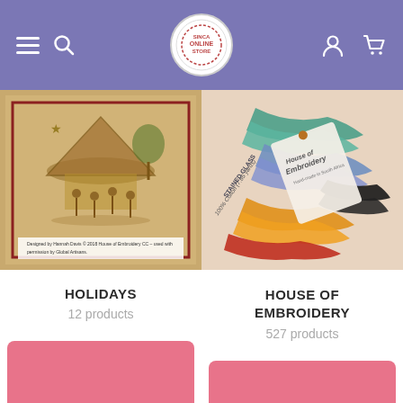Navigation header with menu, search, logo, account, and cart icons
[Figure (photo): Embroidery artwork depicting a nativity/holiday scene with figures around a hut, drawn on aged paper, with caption: Designed by Hannah Davis © 2018 House of Embroidery CC – used with permission by Global Artisans.]
HOLIDAYS
12 products
[Figure (photo): Close-up photo of colorful embroidery thread skeins with a House of Embroidery label tag showing '100% Cotton (7.65 yards) STAINED GLASS']
HOUSE OF EMBROIDERY
527 products
[Figure (photo): Pink/salmon colored card placeholder (partially visible, bottom of page)]
[Figure (photo): Pink/salmon colored card placeholder (partially visible, bottom of page)]